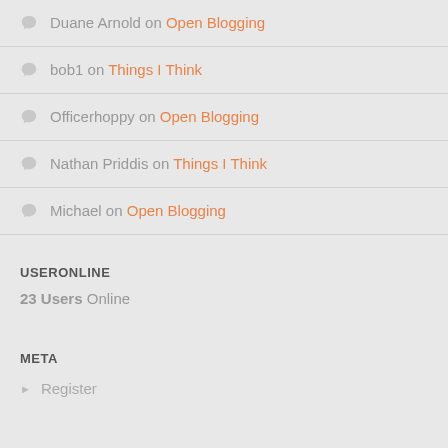Duane Arnold on Open Blogging
bob1 on Things I Think
Officerhoppy on Open Blogging
Nathan Priddis on Things I Think
Michael on Open Blogging
USERONLINE
23 Users Online
META
Register